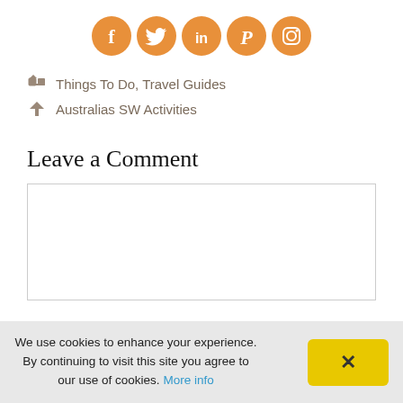[Figure (logo): Five orange circular social media icons: Facebook (f), Twitter (bird), LinkedIn (in), Pinterest (P), Instagram (camera)]
Things To Do, Travel Guides
Australias SW Activities
Leave a Comment
[Figure (other): Empty comment text area box with border]
We use cookies to enhance your experience. By continuing to visit this site you agree to our use of cookies. More info